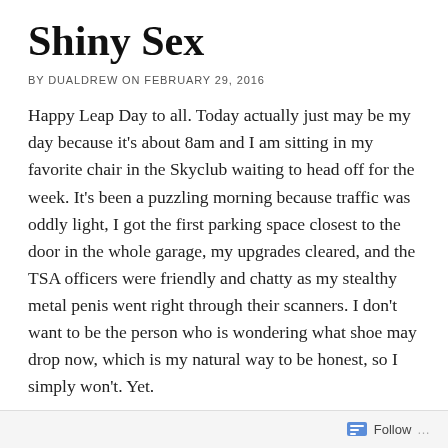Shiny Sex
BY DUALDREW ON FEBRUARY 29, 2016
Happy Leap Day to all. Today actually just may be my day because it’s about 8am and I am sitting in my favorite chair in the Skyclub waiting to head off for the week. It’s been a puzzling morning because traffic was oddly light, I got the first parking space closest to the door in the whole garage, my upgrades cleared, and the TSA officers were friendly and chatty as my stealthy metal penis went right through their scanners. I don’t want to be the person who is wondering what shoe may drop now, which is my natural way to be honest, so I simply won’t. Yet.
Actually, I think it’s because I had sex last night. Good.
Follow